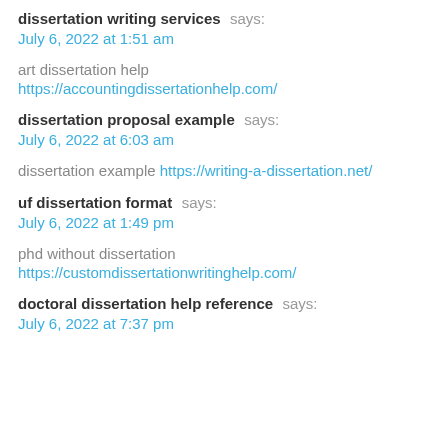dissertation writing services says: July 6, 2022 at 1:51 am
art dissertation help https://accountingdissertationhelp.com/
dissertation proposal example says: July 6, 2022 at 6:03 am
dissertation example https://writing-a-dissertation.net/
uf dissertation format says: July 6, 2022 at 1:49 pm
phd without dissertation https://customdissertationwritinghelp.com/
doctoral dissertation help reference says: July 6, 2022 at 7:37 pm